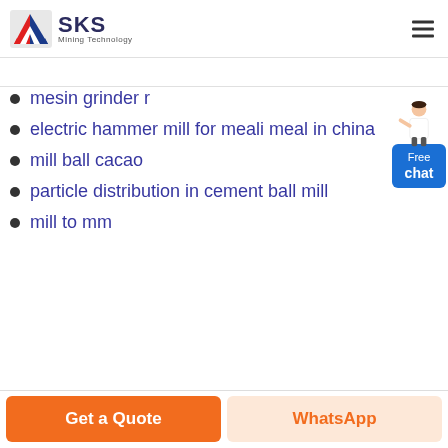[Figure (logo): SKS Mining Technology logo with red/blue geometric icon and company name]
mesin grinder r
electric hammer mill for meali meal in china
mill ball cacao
particle distribution in cement ball mill
mill to mm
[Figure (illustration): Free chat widget with person illustration and blue Free chat button]
Get a Quote
WhatsApp